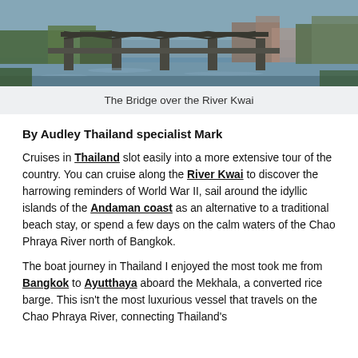[Figure (photo): A wide panoramic photo of the Bridge over the River Kwai, showing a steel truss railway bridge with a river below and lush green trees and buildings in the background.]
The Bridge over the River Kwai
By Audley Thailand specialist Mark
Cruises in Thailand slot easily into a more extensive tour of the country. You can cruise along the River Kwai to discover the harrowing reminders of World War II, sail around the idyllic islands of the Andaman coast as an alternative to a traditional beach stay, or spend a few days on the calm waters of the Chao Phraya River north of Bangkok.
The boat journey in Thailand I enjoyed the most took me from Bangkok to Ayutthaya aboard the Mekhala, a converted rice barge. This isn't the most luxurious vessel that travels on the Chao Phraya River, connecting Thailand's...